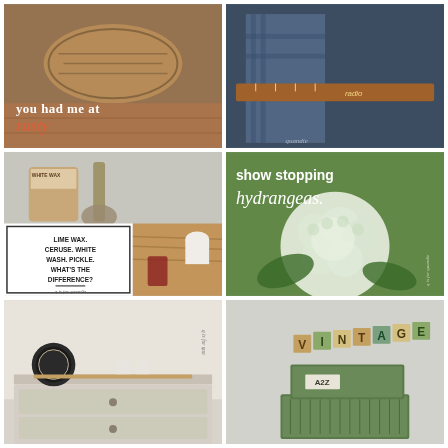[Figure (photo): Rustic wicker/woven baskets and wooden items at a flea market or yard sale. Overlaid text: 'you had me at rusty']
[Figure (photo): Close-up of folded plaid fabric, a wooden ruler, and a container labeled 'radio'. Watermark 'quandie' visible.]
[Figure (photo): Composite: Top half shows white wax product can and brush. Bottom half shows text card 'LIME WAX. CERUSE. WHITE WASH. PICKLE. WHAT'S THE DIFFERENCE? q is for quandie' and wood surface with paint supplies.]
[Figure (photo): Show-stopping hydrangeas - large white/green hydrangea bloom with text overlay 'show stopping hydrangeas.' Watermark 'q is for quandie'.]
[Figure (photo): White painted dresser or furniture piece with decorative items on top including a vintage clock face and small white ceramic pieces. Watermark 'q is for qua'.]
[Figure (photo): Vintage green metal filing/storage boxes stacked with letter blocks spelling VINTAGE and A2Z label visible.]